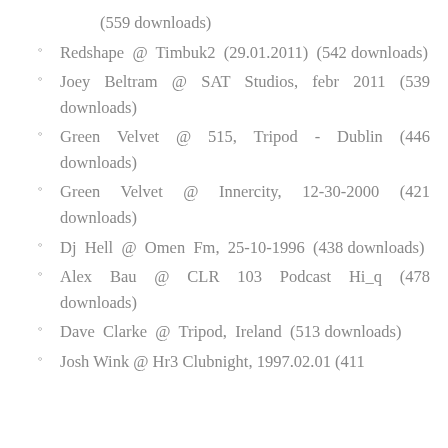(559 downloads)
Redshape @ Timbuk2 (29.01.2011) (542 downloads)
Joey Beltram @ SAT Studios, febr 2011 (539 downloads)
Green Velvet @ 515, Tripod - Dublin (446 downloads)
Green Velvet @ Innercity, 12-30-2000 (421 downloads)
Dj Hell @ Omen Fm, 25-10-1996 (438 downloads)
Alex Bau @ CLR 103 Podcast Hi_q (478 downloads)
Dave Clarke @ Tripod, Ireland (513 downloads)
Josh Wink @ Hr3 Clubnight, 1997.02.01 (411...